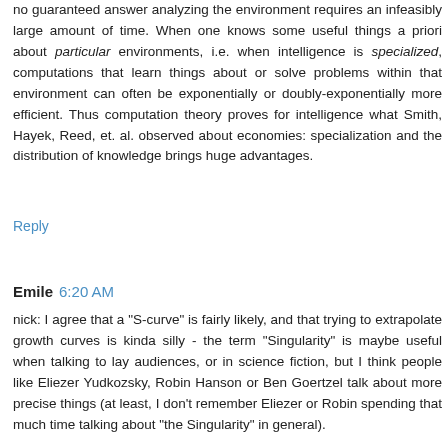no guaranteed answer analyzing the environment requires an infeasibly large amount of time. When one knows some useful things a priori about particular environments, i.e. when intelligence is specialized, computations that learn things about or solve problems within that environment can often be exponentially or doubly-exponentially more efficient. Thus computation theory proves for intelligence what Smith, Hayek, Reed, et. al. observed about economies: specialization and the distribution of knowledge brings huge advantages.
Reply
Emile  6:20 AM
nick: I agree that a "S-curve" is fairly likely, and that trying to extrapolate growth curves is kinda silly - the term "Singularity" is maybe useful when talking to lay audiences, or in science fiction, but I think people like Eliezer Yudkozsky, Robin Hanson or Ben Goertzel talk about more precise things (at least, I don't remember Eliezer or Robin spending that much time talking about "the Singularity" in general).